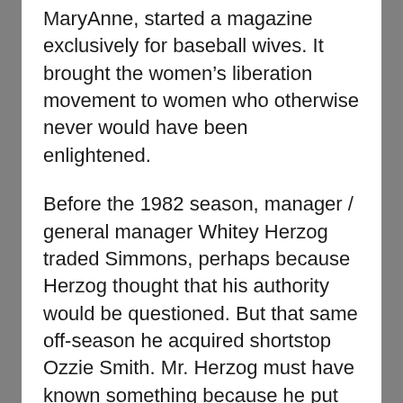MaryAnne, started a magazine exclusively for baseball wives.  It brought the women's liberation movement to women who otherwise never would have been enlightened.
Before the 1982 season, manager / general manager Whitey Herzog traded Simmons, perhaps because Herzog thought that his authority would be questioned.  But that same off-season he acquired shortstop Ozzie Smith.  Mr. Herzog must have known something because he put together a championship team that year.  In 1985 and 1987 the team won the National League pennant only to lose seven-game World